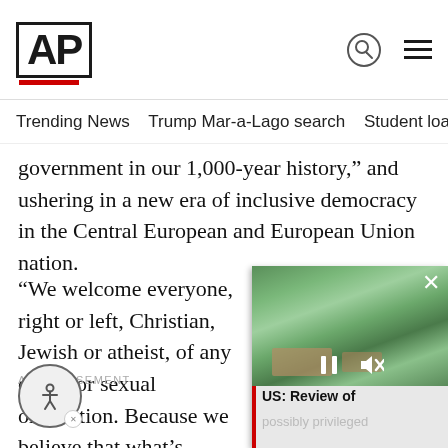AP
Trending News   Trump Mar-a-Lago search   Student loans   U.S.
government in our 1,000-year history,” and ushering in a new era of inclusive democracy in the Central European and European Union nation.
“We welcome everyone, right or left, Christian, Jewish or atheist, of any origin or sexual orientation. Because we believe that what’s important is not what divides us, but what unites us,” Marki-Zay said.
ADVERTISEMENT
[Figure (screenshot): Video overlay showing aerial view of Mar-a-Lago with playback controls, close button, and title 'US: Review of possibly privileged']